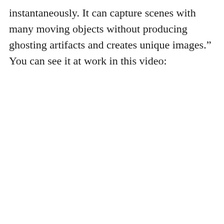instantaneously. It can capture scenes with many moving objects without producing ghosting artifacts and creates unique images.” You can see it at work in this video: